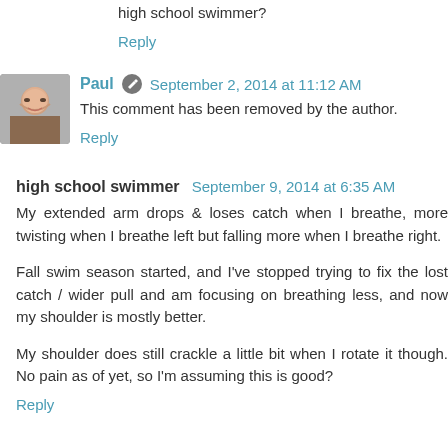high school swimmer?
Reply
Paul   September 2, 2014 at 11:12 AM
This comment has been removed by the author.
Reply
high school swimmer   September 9, 2014 at 6:35 AM
My extended arm drops & loses catch when I breathe, more twisting when I breathe left but falling more when I breathe right.
Fall swim season started, and I've stopped trying to fix the lost catch / wider pull and am focusing on breathing less, and now my shoulder is mostly better.
My shoulder does still crackle a little bit when I rotate it though. No pain as of yet, so I'm assuming this is good?
Reply